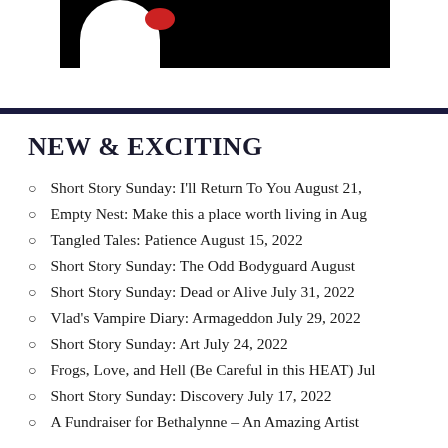[Figure (photo): Partial photo of a person in white clothing against a black background, cropped at top of page]
NEW & EXCITING
Short Story Sunday: I'll Return To You August 21,
Empty Nest: Make this a place worth living in Aug
Tangled Tales: Patience August 15, 2022
Short Story Sunday: The Odd Bodyguard August
Short Story Sunday: Dead or Alive July 31, 2022
Vlad's Vampire Diary: Armageddon July 29, 2022
Short Story Sunday: Art July 24, 2022
Frogs, Love, and Hell (Be Careful in this HEAT) Jul
Short Story Sunday: Discovery July 17, 2022
A Fundraiser for Bethalynne – An Amazing Artist